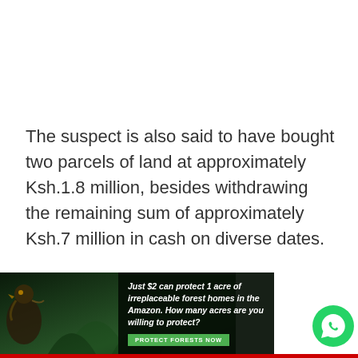The suspect is also said to have bought two parcels of land at approximately Ksh.1.8 million, besides withdrawing the remaining sum of approximately Ksh.7 million in cash on diverse dates.
[Figure (other): Advertisement banner: forest conservation ad with bird image and text 'Just $2 can protect 1 acre of irreplaceable forest homes in the Amazon. How many acres are you willing to protect?' with a green 'PROTECT FORESTS NOW' button. A WhatsApp icon button appears in the bottom right corner.]